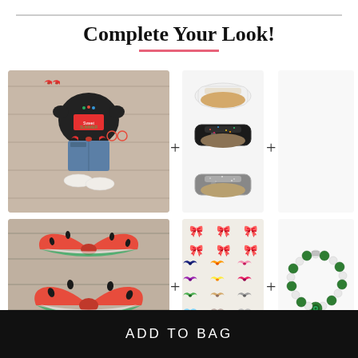Complete Your Look!
[Figure (photo): Children's summer outfit flatlay with black ruffled top, denim shorts, watermelon accessories, and bow]
[Figure (photo): Three pairs of glitter sandals/slides in white, black, and silver]
[Figure (other): Plus sign divider]
[Figure (photo): Watermelon print hair bows]
[Figure (photo): Colorful hair bows display panel with multiple colors]
[Figure (photo): Green and pearl beaded necklace]
ADD TO BAG